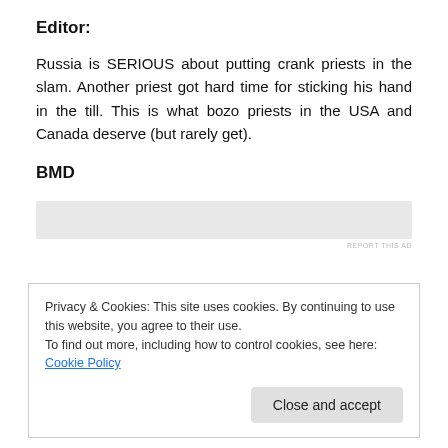Editor:
Russia is SERIOUS about putting crank priests in the slam. Another priest got hard time for sticking his hand in the till. This is what bozo priests in the USA and Canada deserve (but rarely get).
BMD
[Figure (other): Advertisement placeholder banner (light grey rectangle)]
REPORT THIS AD
Privacy & Cookies: This site uses cookies. By continuing to use this website, you agree to their use.
To find out more, including how to control cookies, see here: Cookie Policy
Close and accept